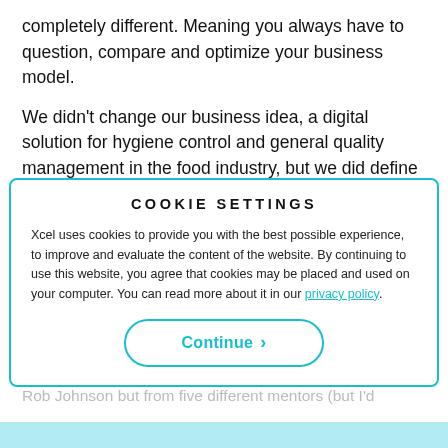completely different. Meaning you always have to question, compare and optimize your business model.
We didn't change our business idea, a digital solution for hygiene control and general quality management in the food industry, but we did define our optimal target group for the beginning.
[Figure (screenshot): Partially visible background image/screenshot behind cookie dialog]
COOKIE SETTINGS
Xcel uses cookies to provide you with the best possible experience, to improve and evaluate the content of the website. By continuing to use this website, you agree that cookies may be placed and used on your computer. You can read more about it in our privacy policy.
4. The Checklist Manifesto
I have another book recommendation, this time not from Rob Johnson but from five different mentors (but I'd